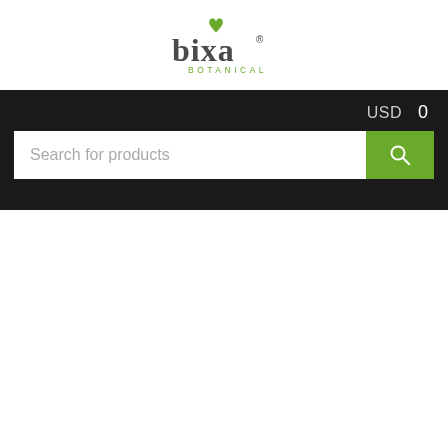[Figure (logo): Bixa Botanical logo — 'bixa' in dark grey lowercase with a small green leaf/sprout above the letter 'i', and 'BOTANICAL' in small green uppercase letters below]
USD
0
Search for products